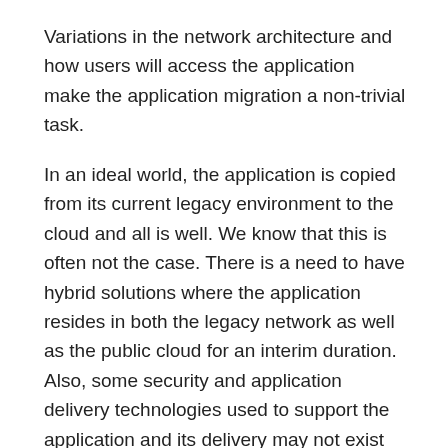Variations in the network architecture and how users will access the application make the application migration a non-trivial task.
In an ideal world, the application is copied from its current legacy environment to the cloud and all is well. We know that this is often not the case. There is a need to have hybrid solutions where the application resides in both the legacy network as well as the public cloud for an interim duration. Also, some security and application delivery technologies used to support the application and its delivery may not exist or be supported in the public cloud architecture.
[You might also like: Application Virtualization – Seeing the Forest Instead of Trees]
Even when the technologies are available in both